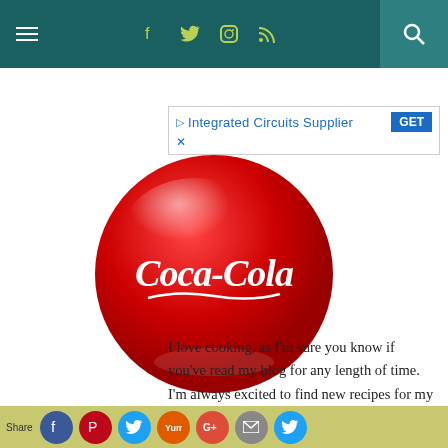Navigation bar with hamburger menu, social icons (Facebook, Twitter, Instagram, RSS), and search icon
[Figure (screenshot): Ad banner showing 'Integrated Circuits Supplier' with blue GET button and blue close X]
[Figure (logo): Coca-Cola circular red logo with white Coca-Cola script text on a glossy red circular badge]
I love cooking, as I'm sure you know if you've read my blog for any length of time. I'm always excited to find new recipes for my family to try, and Brian and I have a lot of fun working
Share bar with social media icons: Facebook, Pinterest, Twitter, Yum, Google+, Email, Twitter